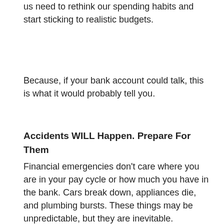us need to rethink our spending habits and start sticking to realistic budgets.
Because, if your bank account could talk, this is what it would probably tell you.
Accidents WILL Happen. Prepare For Them
Financial emergencies don't care where you are in your pay cycle or how much you have in the bank. Cars break down, appliances die, and plumbing bursts. These things may be unpredictable, but they are inevitable.